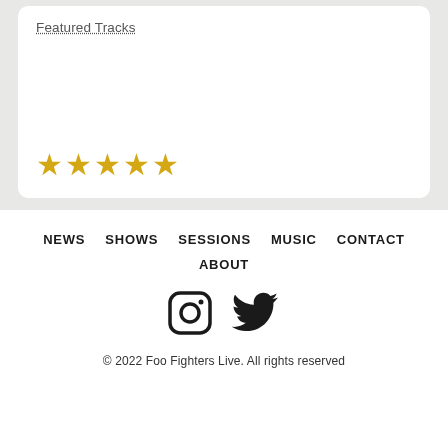Featured Tracks
[Figure (other): Five gold/yellow star rating icons displayed in a row]
NEWS   SHOWS   SESSIONS   MUSIC   CONTACT
ABOUT
[Figure (other): Instagram and Twitter social media icons]
© 2022 Foo Fighters Live. All rights reserved